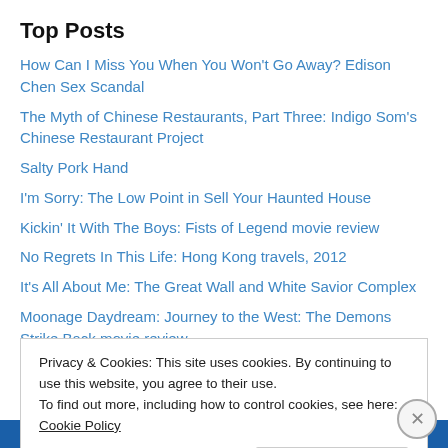Top Posts
How Can I Miss You When You Won't Go Away? Edison Chen Sex Scandal
The Myth of Chinese Restaurants, Part Three: Indigo Som's Chinese Restaurant Project
Salty Pork Hand
I'm Sorry: The Low Point in Sell Your Haunted House
Kickin' It With The Boys: Fists of Legend movie review
No Regrets In This Life: Hong Kong travels, 2012
It's All About Me: The Great Wall and White Savior Complex
Moonage Daydream: Journey to the West: The Demons Strike Back movie review
Privacy & Cookies: This site uses cookies. By continuing to use this website, you agree to their use. To find out more, including how to control cookies, see here: Cookie Policy
Close and accept